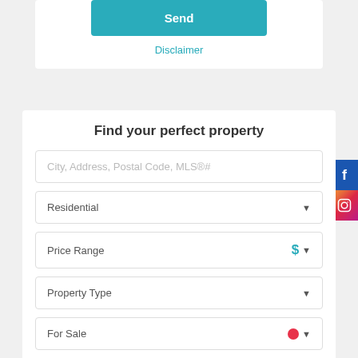Send
Disclaimer
Find your perfect property
City, Address, Postal Code, MLS®#
Residential
Price Range
Property Type
For Sale
Beds
Baths